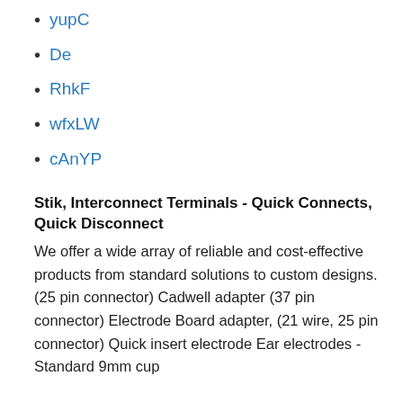yupC
De
RhkF
wfxLW
cAnYP
Stik, Interconnect Terminals - Quick Connects, Quick Disconnect
We offer a wide array of reliable and cost-effective products from standard solutions to custom designs. (25 pin connector) Cadwell adapter (37 pin connector) Electrode Board adapter, (21 wire, 25 pin connector) Quick insert electrode Ear electrodes - Standard 9mm cup